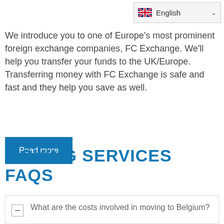[Figure (other): English language selector dropdown with UK flag icon]
We introduce you to one of Europe's most prominent foreign exchange companies, FC Exchange. We'll help you transfer your funds to the UK/Europe. Transferring money with FC Exchange is safe and fast and they help you save as well.
Read more
MOVING SERVICES FAQS
What are the costs involved in moving to Belgium?